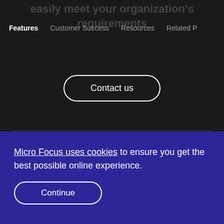easily meet your organization's requirements
Features | Customer Success | Resources | Related P
[Figure (screenshot): Contact us button with rounded pill border on dark background]
Dynamic User Interface
Flexibil...
Micro Focus uses cookies to ensure you get the best possible online experience.
[Figure (screenshot): Continue button with rounded pill border on purple cookie banner background]